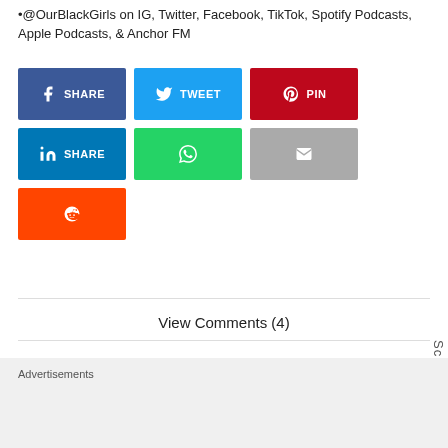•@OurBlackGirls on IG, Twitter, Facebook, TikTok, Spotify Podcasts, Apple Podcasts, & Anchor FM
[Figure (infographic): Social share buttons: Facebook Share, Tweet, Pinterest Pin, LinkedIn Share, WhatsApp, Email, Reddit]
View Comments (4)
Advertisements